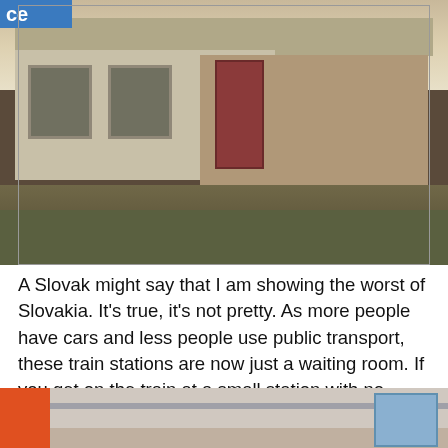[Figure (photo): Photo of a run-down Slovak train station building with white/grey walls, barred windows, red door, graffiti, and patches of grass in the foreground. A blue sign is visible in the top-left corner.]
A Slovak might say that I am showing the worst of Slovakia. It's true, it's not pretty. As more people have cars and less people use public transport, these train stations are now just a waiting room. If you get on the train at a small station with no seller, you just buy the ticket on the train.
[Figure (photo): Partial photo of the interior of a Slovak train, showing an orange/red seat and train ceiling rails visible at the bottom of the page.]